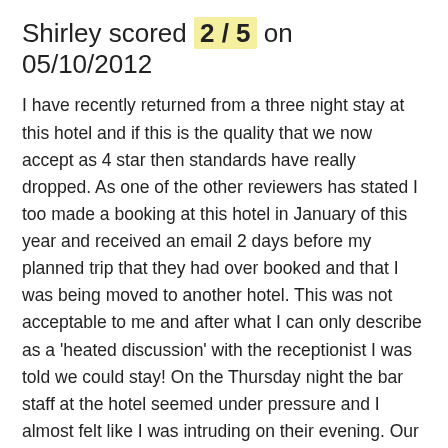Shirley scored 2 / 5 on 05/10/2012
I have recently returned from a three night stay at this hotel and if this is the quality that we now accept as 4 star then standards have really dropped. As one of the other reviewers has stated I too made a booking at this hotel in January of this year and received an email 2 days before my planned trip that they had over booked and that I was being moved to another hotel. This was not acceptable to me and after what I can only describe as a 'heated discussion' with the receptionist I was told we could stay! On the Thursday night the bar staff at the hotel seemed under pressure and I almost felt like I was intruding on their evening. Our room was quiet small, when I asked for a disposable shower cap I was informed that 'we don't them' surely this would be standard in a 4 star hotel? The toiletries that were available were of a poor quality and the kettle in the room didn't work. The breakfast was not good. Again for a 4 star hotel I would expect things like